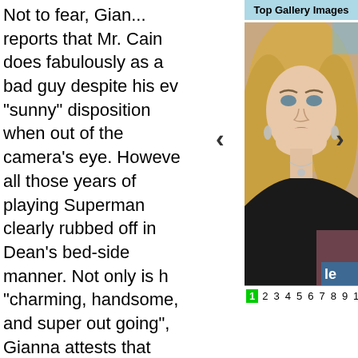Top Gallery Images
[Figure (photo): A blonde woman in a black halter dress with a diamond necklace, posing for a photo at an event.]
Not to fear, Gianna reports that Mr. Cain does fabulously as a bad guy despite his ev "sunny" disposition when out of the camera's eye. However all those years of playing Superman clearly rubbed off in Dean's bed-side manner. Not only is h "charming, handsome, and super out going", Gianna attests that Dean is "always in a good mood…very generous and starts the